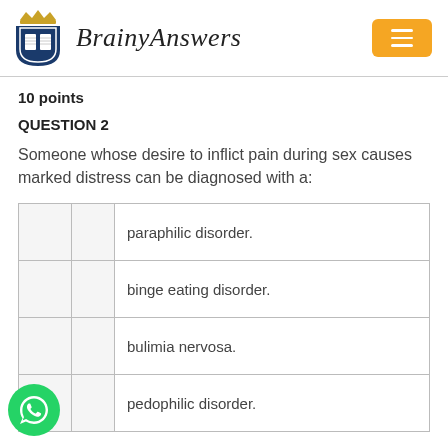[Figure (logo): BrainyAnswers logo with shield icon and script brand name, plus an orange hamburger menu button]
10 points
QUESTION 2
Someone whose desire to inflict pain during sex causes marked distress can be diagnosed with a:
|  |  | paraphilic disorder. |
|  |  | binge eating disorder. |
|  |  | bulimia nervosa. |
|  |  | pedophilic disorder. |